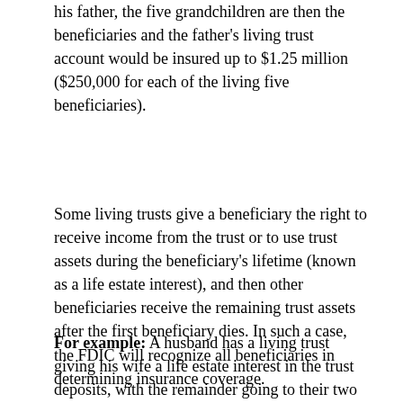his father, the five grandchildren are then the beneficiaries and the father's living trust account would be insured up to $1.25 million ($250,000 for each of the living five beneficiaries).
Some living trusts give a beneficiary the right to receive income from the trust or to use trust assets during the beneficiary's lifetime (known as a life estate interest), and then other beneficiaries receive the remaining trust assets after the first beneficiary dies. In such a case, the FDIC will recognize all beneficiaries in determining insurance coverage.
For example:  A husband has a living trust giving his wife a life estate interest in the trust deposits, with the remainder going to their two children equally upon his wife's death. The